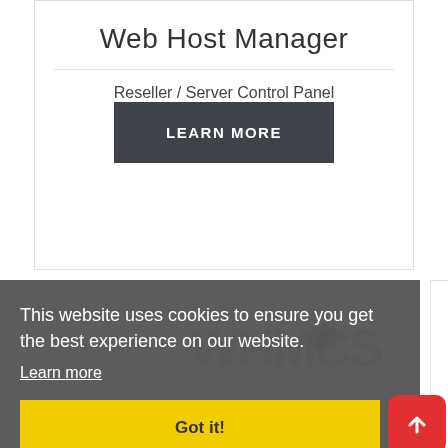Web Host Manager
Reseller / Server Control Panel
LEARN MORE
This website uses cookies to ensure you get the best experience on our website.
Learn more
Got it!